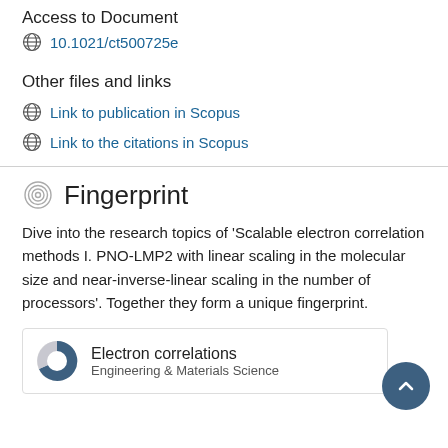Access to Document
10.1021/ct500725e
Other files and links
Link to publication in Scopus
Link to the citations in Scopus
Fingerprint
Dive into the research topics of 'Scalable electron correlation methods I. PNO-LMP2 with linear scaling in the molecular size and near-inverse-linear scaling in the number of processors'. Together they form a unique fingerprint.
Electron correlations
Engineering & Materials Science